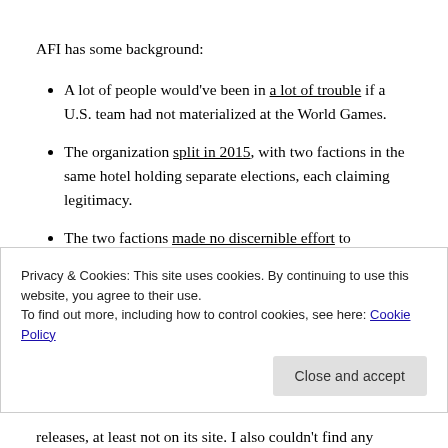AFI has some background:
A lot of people would've been in a lot of trouble if a U.S. team had not materialized at the World Games.
The organization split in 2015, with two factions in the same hotel holding separate elections, each claiming legitimacy.
The two factions made no discernible effort to reconcile, and the British and Finnish federations stated quite clearly in early 2016 that they did not
Privacy & Cookies: This site uses cookies. By continuing to use this website, you agree to their use.
To find out more, including how to control cookies, see here: Cookie Policy
releases, at least not on its site. I also couldn't find any